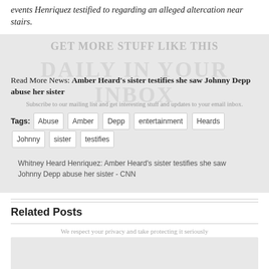events Henriquez testified to regarding an alleged altercation near stairs.
GET MORE STUFF LIKE THIS
DAILY IN YOUR INBOX
Read More News: Amber Heard’s sister testifies she saw Johnny Depp abuse her sister
Subscribe to our mailing list and get interesting stuff and updates to your email inbox.
Tags: Abuse   Amber   Depp   entertainment   Heards   Johnny   sister   testifies
Whitney Heard Henriquez: Amber Heard's sister testifies she saw Johnny Depp abuse her sister - CNN
Related Posts
We respect your privacy and take protecting it seriously